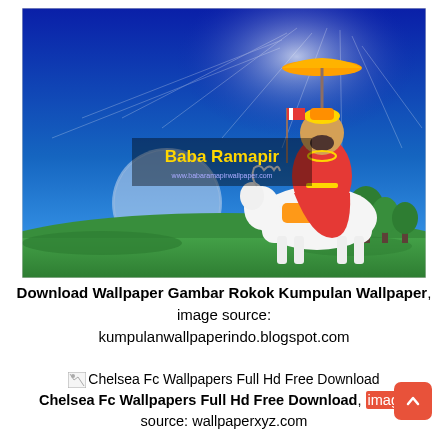[Figure (illustration): Wallpaper image of Baba Ramapir — a figure in traditional royal attire (red outfit, gold crown-like hat with umbrella) riding a white horse on a green grassy field under a vivid blue sky with moon and radiant light. Text overlay reads 'Baba Ramapir' in yellow. Website URL visible below text.]
Download Wallpaper Gambar Rokok Kumpulan Wallpaper, image source: kumpulanwallpaperindo.blogspot.com
[Figure (illustration): Broken image icon placeholder for Chelsea Fc Wallpapers Full Hd Free Download]
Chelsea Fc Wallpapers Full Hd Free Download, image source: wallpaperxyz.com